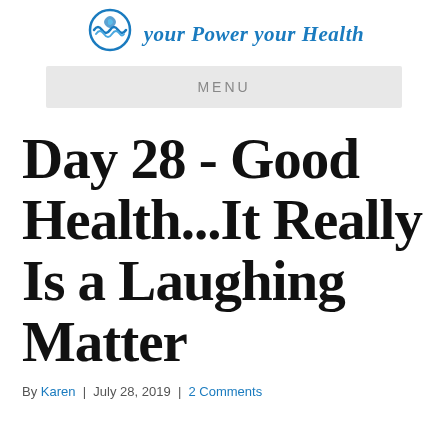your Power your Health
MENU
Day 28 - Good Health...It Really Is a Laughing Matter
By Karen | July 28, 2019 | 2 Comments